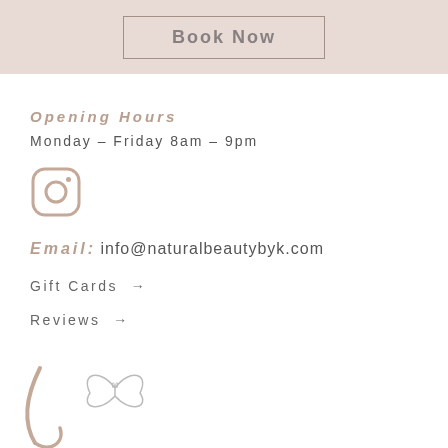Book Now
Opening Hours
Monday – Friday  8am – 9pm
[Figure (logo): Instagram logo icon, rounded square with camera outline]
Email: info@naturalbeautybyk.com
Gift Cards →
Reviews →
[Figure (logo): Natural Beauty by K brand logo — decorative script with butterfly illustration]